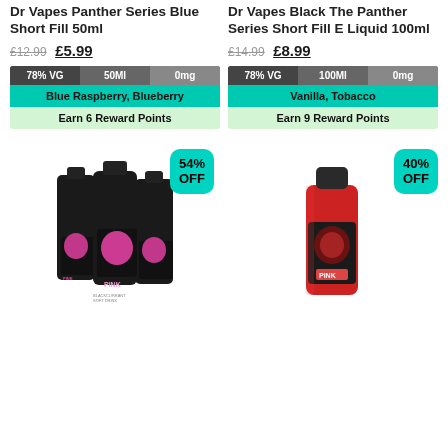Dr Vapes Panther Series Blue Short Fill 50ml
£12.99 £5.99
[Figure (infographic): Badge bar showing 78% VG, 50Ml, 0mg; flavour Blue Raspberry, Blueberry; Earn 6 Reward Points]
Dr Vapes Black The Panther Series Short Fill E Liquid 100ml
£14.99 £8.99
[Figure (infographic): Badge bar showing 78% VG, 100Ml, 0mg; flavour Vanilla, Tobacco; Earn 9 Reward Points]
[Figure (photo): Dr Vapes Pink Panther Series bottles, 3 black bottles with pink panther label, 54% OFF badge]
[Figure (photo): Dr Vapes Pink Panther Series single red bottle with black cap, 40% OFF badge]